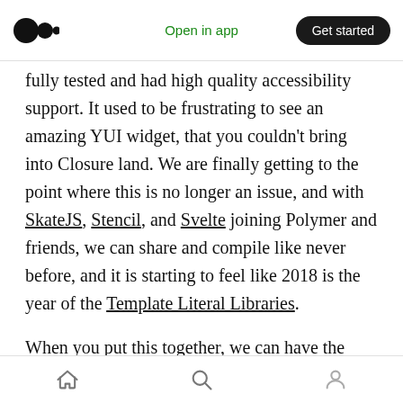Open in app | Get started
fully tested and had high quality accessibility support. It used to be frustrating to see an amazing YUI widget, that you couldn't bring into Closure land. We are finally getting to the point where this is no longer an issue, and with SkateJS, Stencil, and Svelte joining Polymer and friends, we can share and compile like never before, and it is starting to feel like 2018 is the year of the Template Literal Libraries.
When you put this together, we can have the semantics of <something-cool> that could be
Home | Search | Profile